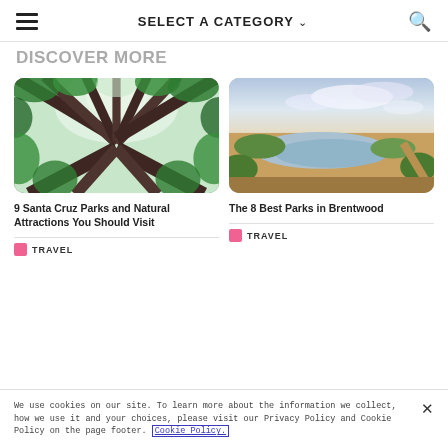SELECT A CATEGORY
DISCOVER MORE
[Figure (photo): Looking up through tall redwood trees with green canopy against sky]
9 Santa Cruz Parks and Natural Attractions You Should Visit
TRAVEL
[Figure (photo): Aerial or wide landscape view of wetlands and fields under a pink-blue sky]
The 8 Best Parks in Brentwood
TRAVEL
We use cookies on our site. To learn more about the information we collect, how we use it and your choices, please visit our Privacy Policy and Cookie Policy on the page footer. Cookie Policy.